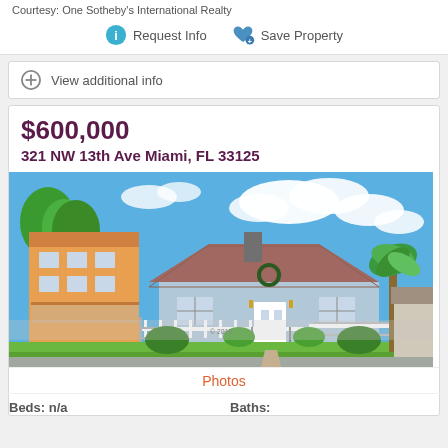Courtesy: One Sotheby's International Realty
Request Info   Save Property
View additional info
$600,000
321 NW 13th Ave Miami, FL 33125
[Figure (photo): Exterior photo of a small single-family home with white fence, green lawn, palm trees, and blue sky. Located at 321 NW 13th Ave Miami, FL 33125.]
Photos
Beds: n/a    Baths: